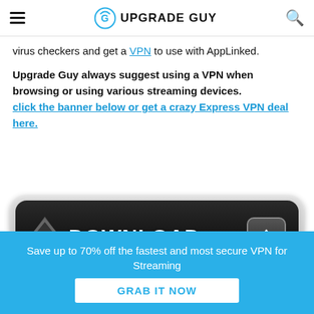UPGRADE GUY
virus checkers and get a VPN to use with AppLinked.
Upgrade Guy always suggest using a VPN when browsing or using various streaming devices. click the banner below or get a crazy Express VPN deal here.
[Figure (illustration): Black rounded download button with white DOWNLOAD text and download arrow icons]
[Figure (infographic): Blue VPN promotional banner: Save up to 70% off the fastest and most secure VPN for Streaming. GRAB IT NOW button.]